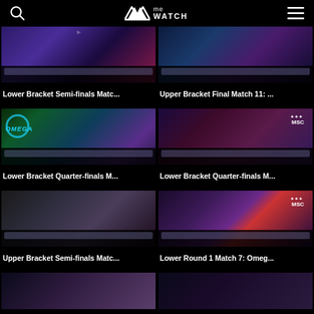meWATCH
[Figure (screenshot): Thumbnail for Lower Bracket Semi-finals Match video]
Lower Bracket Semi-finals Matc...
[Figure (screenshot): Thumbnail for Upper Bracket Final Match 11 video]
Upper Bracket Final Match 11: ...
[Figure (screenshot): Thumbnail for Lower Bracket Quarter-finals Match video - Omega]
Lower Bracket Quarter-finals M...
[Figure (screenshot): Thumbnail for Lower Bracket Quarter-finals Match video - MSC]
Lower Bracket Quarter-finals M...
[Figure (screenshot): Thumbnail for Upper Bracket Semi-finals Match video]
Upper Bracket Semi-finals Matc...
[Figure (screenshot): Thumbnail for Lower Round 1 Match 7 Omega video]
Lower Round 1 Match 7: Omeg...
[Figure (screenshot): Partial thumbnail row 4 left]
[Figure (screenshot): Partial thumbnail row 4 right]